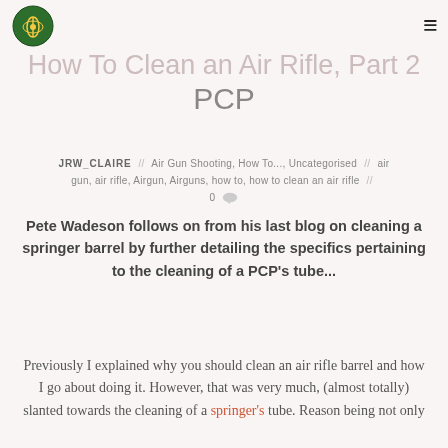How To Clean an Air Rifle, Part 2 PCP
JRW_CLAIRE // Air Gun Shooting, How To..., Uncategorised // air gun, air rifle, Airgun, Airguns, how to, how to clean an air rifle // 0
Pete Wadeson follows on from his last blog on cleaning a springer barrel by further detailing the specifics pertaining to the cleaning of a PCP's tube...
Previously I explained why you should clean an air rifle barrel and how I go about doing it. However, that was very much, (almost totally) slanted towards the cleaning of a springer's tube. Reason being not only